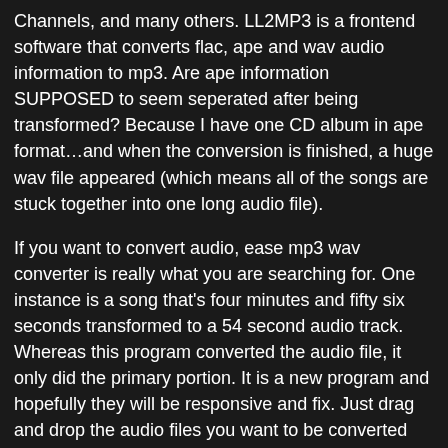Channels, and many others. LL2MP3 is a frontend software that converts flac, ape and wav audio information to mp3. Are ape information SUPPOSED to seem seperated after being transformed? Because I have one CD album in ape format...and when the conversion is finished, a huge wav file appeared (which means all of the songs are stuck together into one long audio file).
If you want to convert audio, ease mp3 wav converter is really what you are searching for. One instance is a song that's four minutes and fifty six seconds transformed to a 54 second audio track. Whereas this program converted the audio file, it only did the primary portion. It is a new program and hopefully they will be responsive and fix. Just drag and drop the audio files you want to be converted instantly into this system, choose an output format, and then start the conversion. I'll change once they decide to fix. Don't waste your money until they repair. All the files attempted had been about 30MB in size utilizing APE. My Audio Extractor doesn't use system registry and all settings are written to INI records data in utility folder.